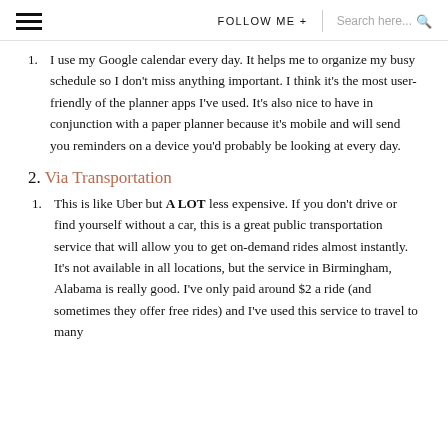≡   FOLLOW ME +   Search here...  🔍
1. I use my Google calendar every day. It helps me to organize my busy schedule so I don't miss anything important. I think it's the most user-friendly of the planner apps I've used. It's also nice to have in conjunction with a paper planner because it's mobile and will send you reminders on a device you'd probably be looking at every day.
2. Via Transportation
1. This is like Uber but A LOT less expensive. If you don't drive or find yourself without a car, this is a great public transportation service that will allow you to get on-demand rides almost instantly. It's not available in all locations, but the service in Birmingham, Alabama is really good. I've only paid around $2 a ride (and sometimes they offer free rides) and I've used this service to travel to many